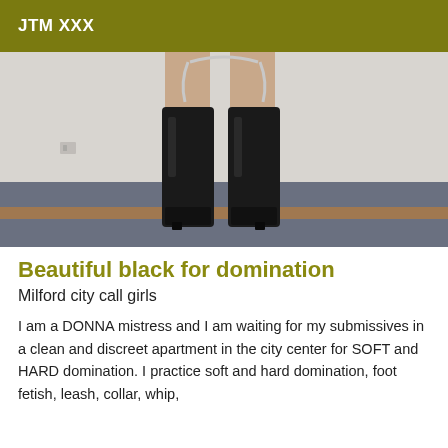JTM XXX
[Figure (photo): Photo showing lower body with black thigh-high boots on a blue carpet floor, with a wall and wooden baseboard in the background]
Beautiful black for domination
Milford city call girls
I am a DONNA mistress and I am waiting for my submissives in a clean and discreet apartment in the city center for SOFT and HARD domination. I practice soft and hard domination, foot fetish, leash, collar, whip,